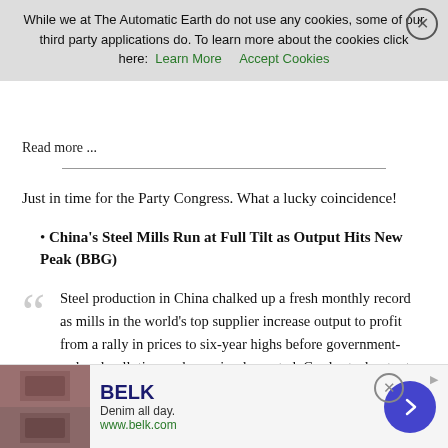While we at The Automatic Earth do not use any cookies, some of our third party applications do. To learn more about the cookies click here: Learn More   Accept Cookies
Read more ...
Just in time for the Party Congress. What a lucky coincidence!
China's Steel Mills Run at Full Tilt as Output Hits New Peak (BBG)
Steel production in China chalked up a fresh monthly record as mills in the world's top supplier increase output to profit from a rally in prices to six-year highs before government-ordered pollution curbs are implemented. Crude steel output climbed to 74.59 million metric tons last month, surpassing the previous peak of 74.02 million in July, and up from 68.57 million in August 2016, according to the statistics bureau Thursday. While that's an all-time high for the month, daily
[Figure (screenshot): BELK advertisement banner at bottom of page showing denim clothing brand with 'Denim all day.' tagline and www.belk.com URL]